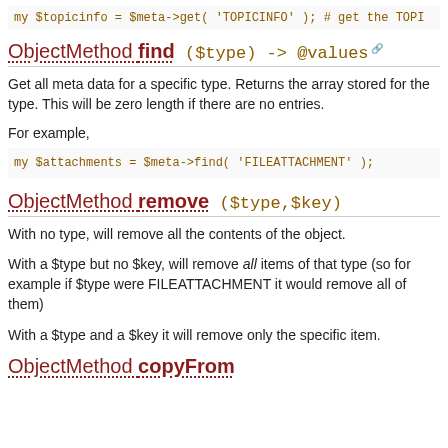my $topicinfo = $meta->get( 'TOPICINFO' ); # get the TOPI
ObjectMethod find ($type) -> @values
Get all meta data for a specific type. Returns the array stored for the type. This will be zero length if there are no entries.
For example,
my $attachments = $meta->find( 'FILEATTACHMENT' );
ObjectMethod remove ($type,$key)
With no type, will remove all the contents of the object.
With a $type but no $key, will remove all items of that type (so for example if $type were FILEATTACHMENT it would remove all of them)
With a $type and a $key it will remove only the specific item.
ObjectMethod copyFrom